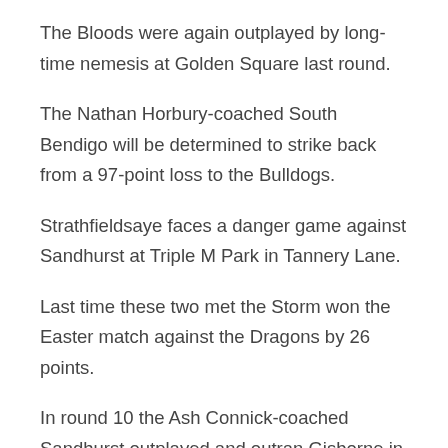The Bloods were again outplayed by long-time nemesis at Golden Square last round.
The Nathan Horbury-coached South Bendigo will be determined to strike back from a 97-point loss to the Bulldogs.
Strathfieldsaye faces a danger game against Sandhurst at Triple M Park in Tannery Lane.
Last time these two met the Storm won the Easter match against the Dragons by 26 points.
In round 10 the Ash Connick-coached Sandhurst outplayed and outran Gisborne in the second half to win by 37 points.